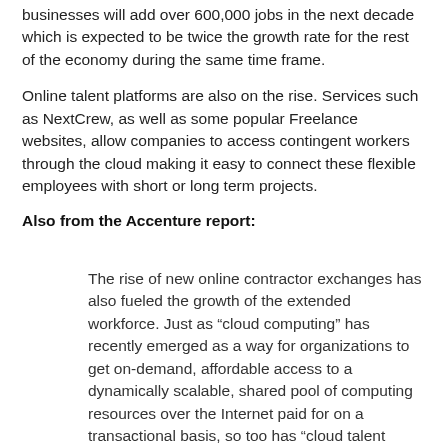businesses will add over 600,000 jobs in the next decade which is expected to be twice the growth rate for the rest of the economy during the same time frame.
Online talent platforms are also on the rise. Services such as NextCrew, as well as some popular Freelance websites, allow companies to access contingent workers through the cloud making it easy to connect these flexible employees with short or long term projects.
Also from the Accenture report:
The rise of new online contractor exchanges has also fueled the growth of the extended workforce. Just as “cloud computing” has recently emerged as a way for organizations to get on-demand, affordable access to a dynamically scalable, shared pool of computing resources over the Internet paid for on a transactional basis, so too has “cloud talent sourcing” emerged as a new model whereby organizations can get on-